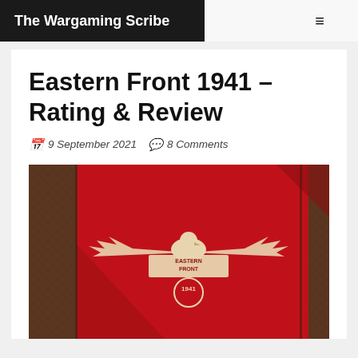The Wargaming Scribe
Eastern Front 1941 – Rating & Review
9 September 2021  8 Comments
[Figure (photo): Book cover of Eastern Front 1941 – red and brown leather-textured cover with a stylized eagle holding a banner reading EASTERN FRONT 1941]